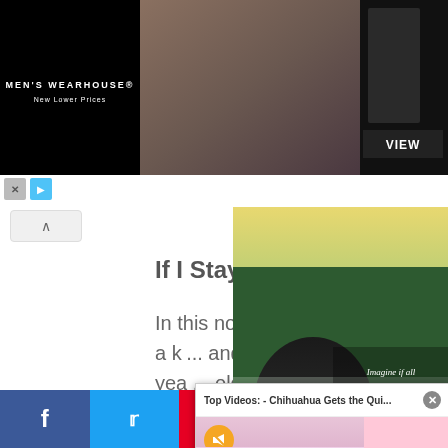[Figure (screenshot): Men's Wearhouse advertisement banner with couple in formal wear and man in suit, with VIEW button]
^
If I Stay
In this novel by Gayle Forman we meet Mia, a k... and musically talented seventeen yea... old girl who d... with the aftern...
[Figure (photo): Book cover for If I Stay showing forest and bear with text: Imagine if all your choices were gone. Except one.]
[Figure (screenshot): Top Videos popup overlay: Chihuahua Gets the Quinceanera of Her Dreams video with pink floral background and dog in sunglasses]
f  Twitter  Pinterest  in  Share